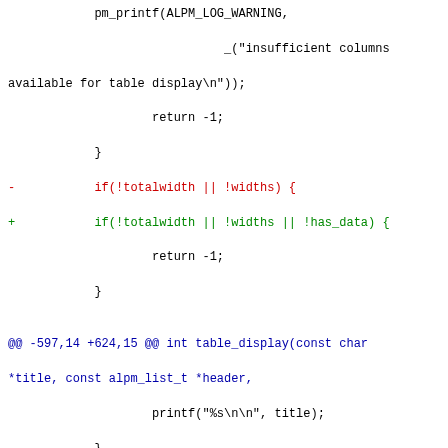Code diff showing changes to table_display function including additions of has_data parameter to table_print_line calls and free(has_data) call.